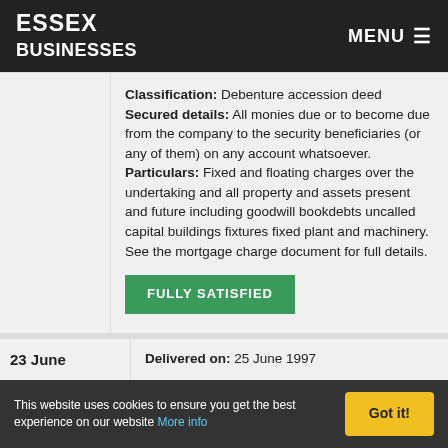ESSEX BUSINESSES | MENU
Classification: Debenture accession deed Secured details: All monies due or to become due from the company to the security beneficiaries (or any of them) on any account whatsoever. Particulars: Fixed and floating charges over the undertaking and all property and assets present and future including goodwill bookdebts uncalled capital buildings fixtures fixed plant and machinery. See the mortgage charge document for full details.
FULLY SATISFIED
23 June
Delivered on: 25 June 1997
This website uses cookies to ensure you get the best experience on our website More info